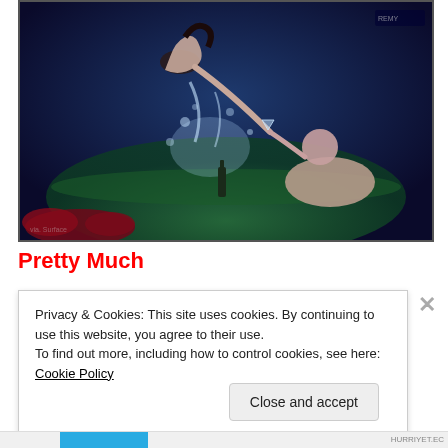[Figure (photo): Fantasy/artistic photo of a woman appearing to dive or float above water with water splashing, reaching toward a man sitting in a pool/bathtub, with a bottle on the edge. Dark blue and green lighting, red flowers in foreground.]
Pretty Much
Privacy & Cookies: This site uses cookies. By continuing to use this website, you agree to their use. To find out more, including how to control cookies, see here: Cookie Policy
Close and accept